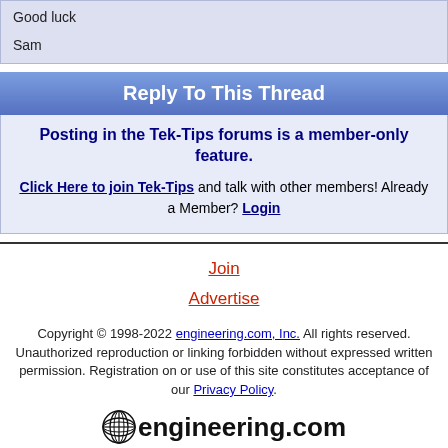Good luck

Sam
Reply To This Thread
Posting in the Tek-Tips forums is a member-only feature.
Click Here to join Tek-Tips and talk with other members! Already a Member? Login
Join
Advertise
Copyright © 1998-2022 engineering.com, Inc. All rights reserved. Unauthorized reproduction or linking forbidden without expressed written permission. Registration on or use of this site constitutes acceptance of our Privacy Policy.
[Figure (logo): engineering.com globe logo with text 'engineering.com']